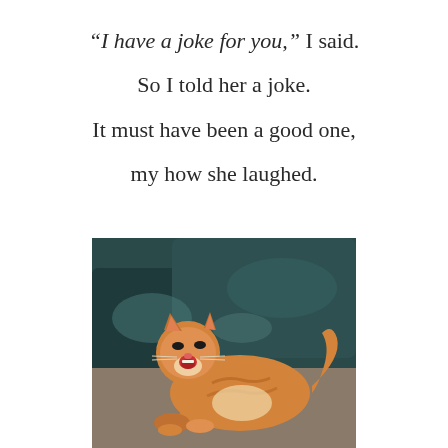“I have a joke for you,” I said.

So I told her a joke.

It must have been a good one,

my how she laughed.
[Figure (photo): An orange and white tabby cat lying on a couch with dark teal/black satin pillows behind it, with its mouth wide open as if laughing or yawning.]